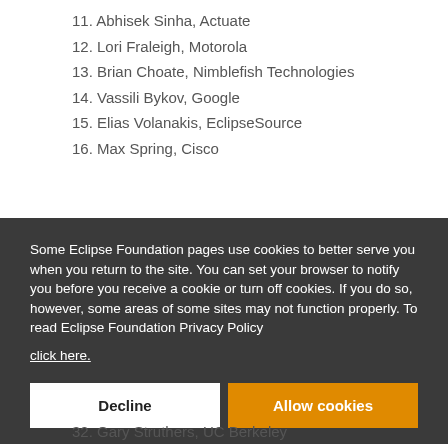11. Abhisek Sinha, Actuate
12. Lori Fraleigh, Motorola
13. Brian Choate, Nimblefish Technologies
14. Vassili Bykov, Google
15. Elias Volanakis, EclipseSource
16. Max Spring, Cisco
Some Eclipse Foundation pages use cookies to better serve you when you return to the site. You can set your browser to notify you before you receive a cookie or turn off cookies. If you do so, however, some areas of some sites may not function properly. To read Eclipse Foundation Privacy Policy click here.
32. Gary Struthers, UC Berkeley